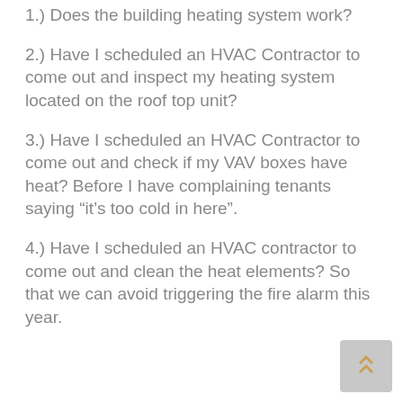1.) Does the building heating system work?
2.) Have I scheduled an HVAC Contractor to come out and inspect my heating system located on the roof top unit?
3.) Have I scheduled an HVAC Contractor to come out and check if my VAV boxes have heat? Before I have complaining tenants saying "it's too cold in here".
4.) Have I scheduled an HVAC contractor to come out and clean the heat elements? So that we can avoid triggering the fire alarm this year.